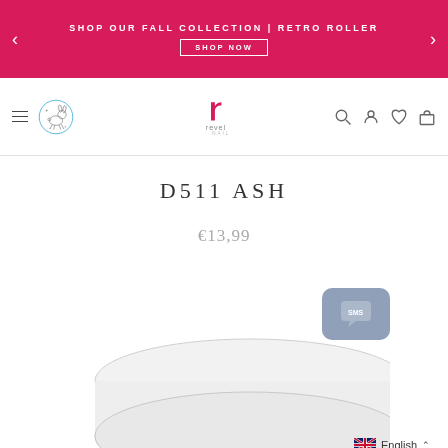SHOP OUR FALL COLLECTION | RETRO ROLLER SHOP NOW
[Figure (logo): Revel Nail logo with leaping bunny certification mark]
D511 ASH
€13,99
[Figure (photo): Revel Nail polish product top view showing light grey/ash nail polish lid]
[Figure (other): SMS chat button widget]
English